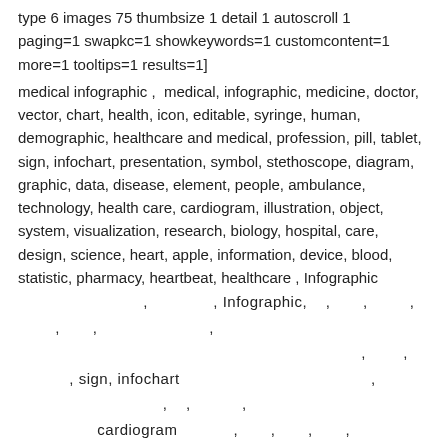type 6 images 75 thumbsize 1 detail 1 autoscroll 1 paging=1 swapkc=1 showkeywords=1 customcontent=1 more=1 tooltips=1 results=1]
medical infographic ,  medical, infographic, medicine, doctor, vector, chart, health, icon, editable, syringe, human, demographic, healthcare and medical, profession, pill, tablet, sign, infochart, presentation, symbol, stethoscope, diagram, graphic, data, disease, element, people, ambulance, technology, health care, cardiogram, illustration, object, system, visualization, research, biology, hospital, care, design, science, heart, apple, information, device, blood, statistic, pharmacy, heartbeat, healthcare , Infographic , , Infographic, , , , , , , , , , , sign, infochart , , , , , cardiogram , , , ,